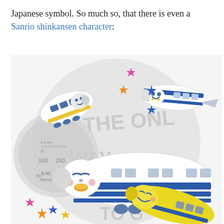Japanese symbol. So much so, that there is even a Sanrio shinkansen character:
[Figure (illustration): Cartoon illustration of cute Sanrio-style shinkansen bullet train characters with smiley faces, colorful stars (pink, orange, blue, yellow), and a circular background with a speedometer/watch motif and faded text reading 'THE ONLY WAY TO GO THERE WITH TIME TO SPARE'. Multiple cartoon trains depicted in white/blue, blue/white, and yellow/blue color schemes.]